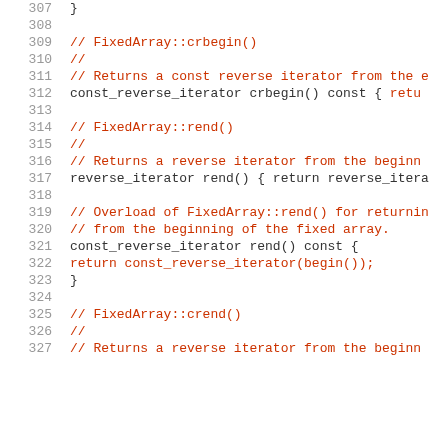[Figure (screenshot): Source code listing showing C++ member function definitions for FixedArray class, lines 307-327, including crbegin(), rend(), and crend() methods with syntax highlighting. Line numbers in gray on the left, comments in red, code in black/dark blue.]